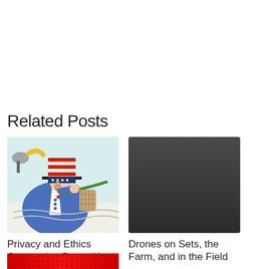Related Posts
[Figure (illustration): Cartoon illustration of Uncle Sam character in blue suit and patriotic hat being dragged or pulled, political satire style drawing]
Privacy and Ethics Concerning Drone Use
[Figure (photo): Dark gray placeholder image for drone-related article]
Drones on Sets, the Farm, and in the Field
[Figure (photo): Red textured image partially visible at bottom of page]